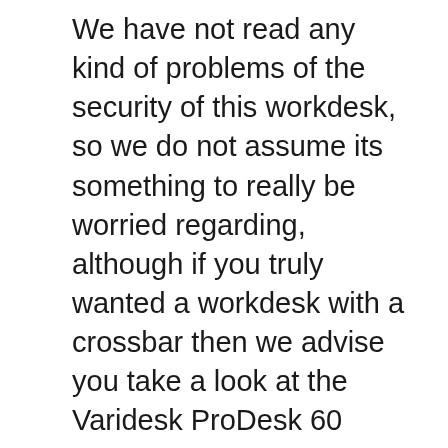We have not read any kind of problems of the security of this workdesk, so we do not assume its something to really be worried regarding, although if you truly wanted a workdesk with a crossbar then we advise you take a look at the Varidesk ProDesk 60 Electric.
StandDesk does use a different add-on bar that you can add to the desk yourself, simply for an additional $49.95.
Security
The security of a standing desk is just one of the most vital facets of these desks. Without a stable desk you'll locate it hard to focus, which can result in you ending up being less